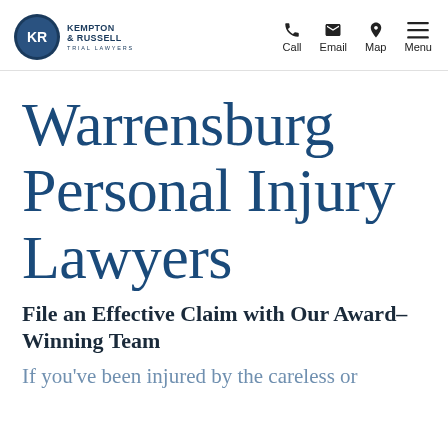Kempton & Russell Trial Lawyers — Call, Email, Map, Menu
Warrensburg Personal Injury Lawyers
File an Effective Claim with Our Award-Winning Team
If you've been injured by the careless or